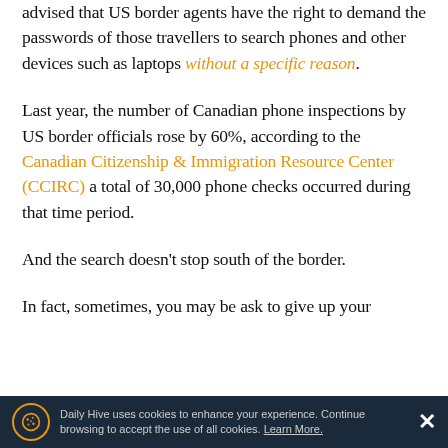advised that US border agents have the right to demand the passwords of those travellers to search phones and other devices such as laptops without a specific reason.
Last year, the number of Canadian phone inspections by US border officials rose by 60%, according to the Canadian Citizenship & Immigration Resource Center (CCIRC) a total of 30,000 phone checks occurred during that time period.
And the search doesn't stop south of the border.
In fact, sometimes, you may be ask to give up your
Daily Hive uses cookies to enhance your experience. Continue browsing to accept the use of all cookies. Learn More.